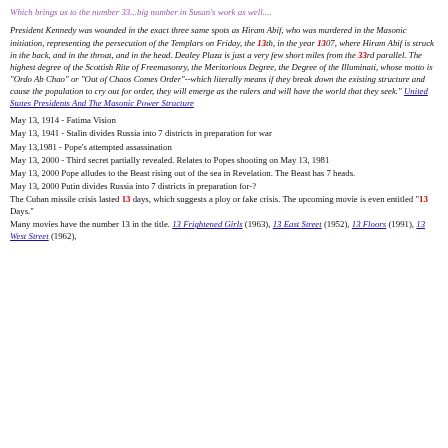Which brings us to the number 33...big number in Susan's work as well....
President Kennedy was wounded in the exact three same spots as Hiram Abif, who was murdered in the Masonic initiation, representing the persecution of the Templars on Friday, the 13th, in the year 1307, where Hiram Abif is struck in the back, and in the throat, and in the head. Dealey Plaza is just a very few short miles from the 33rd parallel. The highest degree of the Scottish Rite of Freemasonry, the Meritorious Degree, the Degree of the Illuminati, whose motto is "Ordo Ab Chao" or "Out of Chaos Comes Order"--which literally means if they break down the existing structure and cause the population to cry out for order, they will emerge as the rulers and will have the world that they seek." United States Presidents And The Masonic Power Structure
May 13, 1914 - Fatima Vision
May 13, 1941 - Stalin divides Russia into 7 districts in preparation for war
May 13,1981 - Pope's attempted assassination
May 13, 2000 - Third secret partially revealed. Relates to Popes shooting on May 13, 1981
May 13, 2000 Pope alludes to the Beast rising out of the sea in Revelation. The Beast has 7 heads.
May 13, 2000 Putin divides Russia into 7 districts in preparation for-?
The Cuban missile crisis lasted 13 days, which suggests a ploy or fake crisis. The upcoming movie is even entitled "13 Days."
Many movies have the number 13 in the title. 13 Frightened Girls (1963), 13 East Street (1952), 13 Floors (1991), 13 West Street (1962),